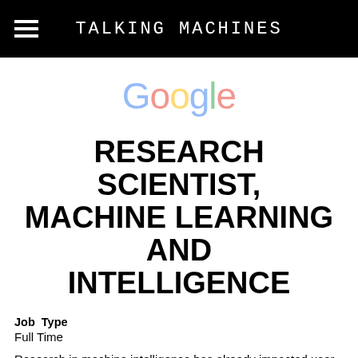TALKING MACHINES
[Figure (logo): Google logo in multicolor (blue, red, yellow, blue, green, red) with faded opacity]
RESEARCH SCIENTIST, MACHINE LEARNING AND INTELLIGENCE
Job Type
Full Time
Research in machine intelligence has already impacted user-facing services across Google including Search,